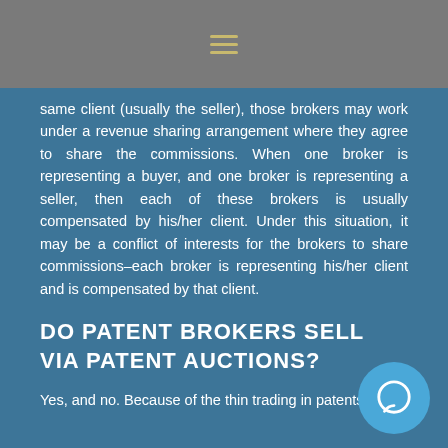☰
same client (usually the seller), those brokers may work under a revenue sharing arrangement where they agree to share the commissions. When one broker is representing a buyer, and one broker is representing a seller, then each of these brokers is usually compensated by his/her client. Under this situation, it may be a conflict of interests for the brokers to share commissions–each broker is representing his/her client and is compensated by that client.
DO PATENT BROKERS SELL VIA PATENT AUCTIONS?
Yes, and no. Because of the thin trading in patents, it